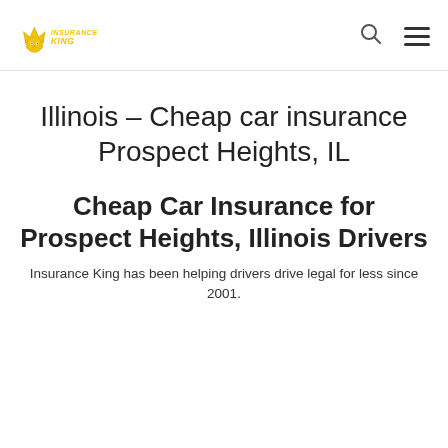INSURANCE KING [logo]
Illinois – Cheap car insurance Prospect Heights, IL
Cheap Car Insurance for Prospect Heights, Illinois Drivers
Insurance King has been helping drivers drive legal for less since 2001.